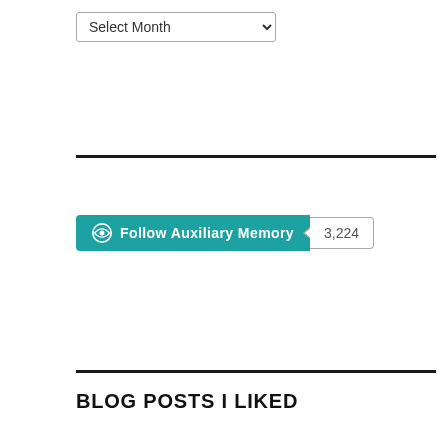[Figure (screenshot): Select Month dropdown widget]
[Figure (screenshot): Follow Auxiliary Memory button with 3,224 follower count badge]
BLOG POSTS I LIKED
Future Media Short Story Revie… on Science Fiction and Other Suspect Ruminations
The Fortean Influence on Scien… on MarzAat
Jack of Eagles on MarzAat